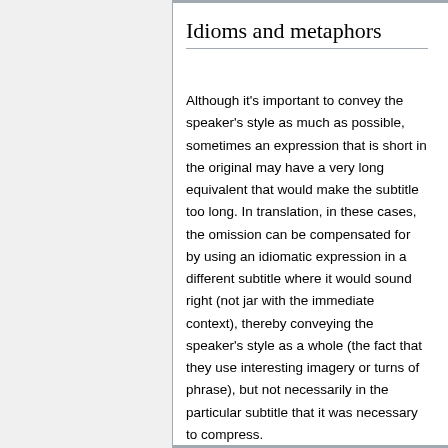Idioms and metaphors
Although it's important to convey the speaker's style as much as possible, sometimes an expression that is short in the original may have a very long equivalent that would make the subtitle too long. In translation, in these cases, the omission can be compensated for by using an idiomatic expression in a different subtitle where it would sound right (not jar with the immediate context), thereby conveying the speaker's style as a whole (the fact that they use interesting imagery or turns of phrase), but not necessarily in the particular subtitle that it was necessary to compress.